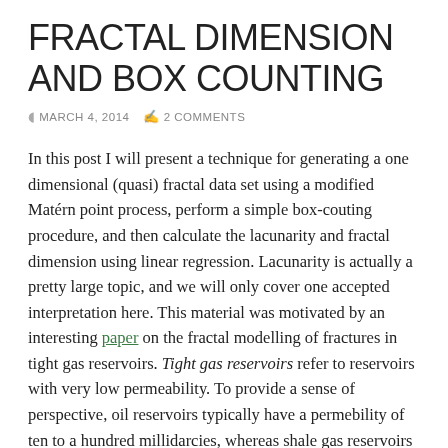FRACTAL DIMENSION AND BOX COUNTING
MARCH 4, 2014   2 COMMENTS
In this post I will present a technique for generating a one dimensional (quasi) fractal data set using a modified Matérn point process, perform a simple box-couting procedure, and then calculate the lacunarity and fractal dimension using linear regression. Lacunarity is actually a pretty large topic, and we will only cover one accepted interpretation here. This material was motivated by an interesting paper on the fractal modelling of fractures in tight gas reservoirs. Tight gas reservoirs refer to reservoirs with very low permeability. To provide a sense of perspective, oil reservoirs typically have a permebility of ten to a hundred millidarcies, whereas shale gas reservoirs are usually less than 0.1 microdarcies, which is about the same permeability as a granite countertop.